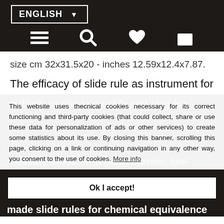ENGLISH ▼
[Figure (other): Navigation icons: hamburger menu, search (magnifying glass), heart/wishlist, shopping bag]
size cm 32x31.5x20 - inches 12.59x12.4x7.87.
The efficacy of slide rule as instrument for
multiply or divide quickly and also for
This website uses thecnical cookies necessary for its correct functioning and third-party cookies (that could collect, share or use these data for personalization of ads or other services) to create some statistics about its use. By closing this banner, scrolling this page, clicking on a link or continuing navigation in any other way, you consent to the use of cookies. More info
Ok I accept!
measure wood, iron bars, barrels, live-
tock, wine and other taxes. They w...
made slide rules for chemical equivalences